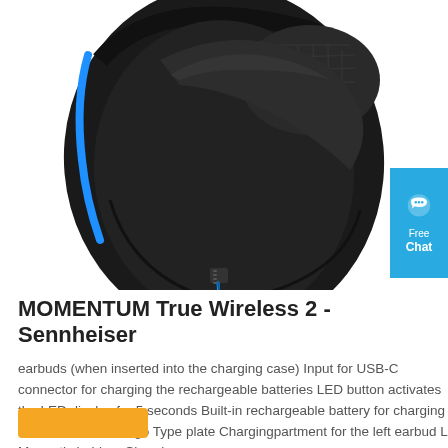[Figure (photo): Close-up photo of a black and blue gaming/audio headphone ear cup with textured surface, blue accent cable visible at bottom]
[Figure (other): Blue chat widget button in top-right corner with speech bubble icon and text 'Free Chat']
MOMENTUM True Wireless 2 - Sennheiser
earbuds (when inserted into the charging case) Input for USB-C connector for charging the rechargeable batteries LED button activates the LED display for 5 seconds Built-in rechargeable battery for charging the earbuds on the go Type plate Chargingpartment for the left earbud L Magnetic holders Charging ...